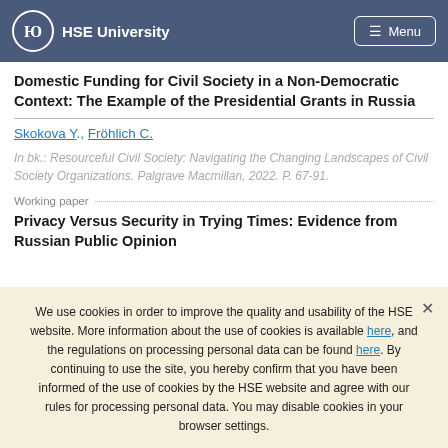HSE University  Menu
Domestic Funding for Civil Society in a Non-Democratic Context: The Example of the Presidential Grants in Russia
Skokova Y., Fröhlich C.
In bk.: Resourceful Civil Society: Navigating the Changing Landscapes of Civil Society Organizations. Palgrave Macmillan, 2022. P. 67-91.
Working paper
Privacy Versus Security in Trying Times: Evidence from Russian Public Opinion
We use cookies in order to improve the quality and usability of the HSE website. More information about the use of cookies is available here, and the regulations on processing personal data can be found here. By continuing to use the site, you hereby confirm that you have been informed of the use of cookies by the HSE website and agree with our rules for processing personal data. You may disable cookies in your browser settings.